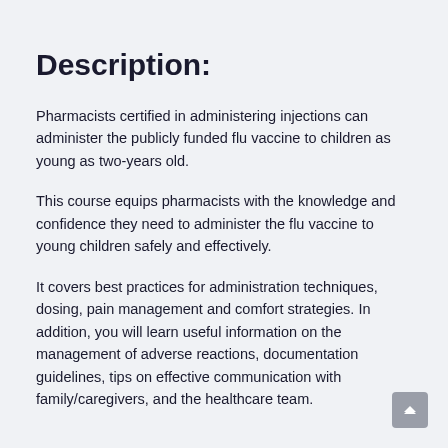Description:
Pharmacists certified in administering injections can administer the publicly funded flu vaccine to children as young as two-years old.
This course equips pharmacists with the knowledge and confidence they need to administer the flu vaccine to young children safely and effectively.
It covers best practices for administration techniques, dosing, pain management and comfort strategies. In addition, you will learn useful information on the management of adverse reactions, documentation guidelines, tips on effective communication with family/caregivers, and the healthcare team.